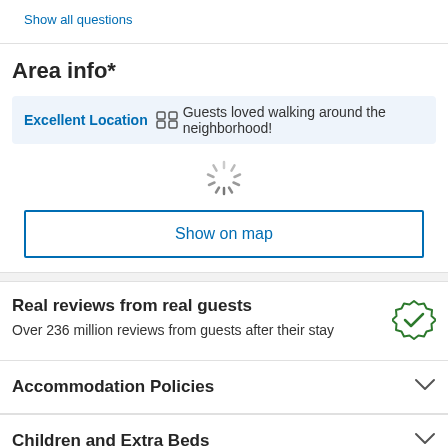Show all questions
Area info*
Excellent Location  Guests loved walking around the neighborhood!
[Figure (other): Loading spinner / circular progress indicator]
Show on map
Real reviews from real guests
Over 236 million reviews from guests after their stay
Accommodation Policies
Children and Extra Beds